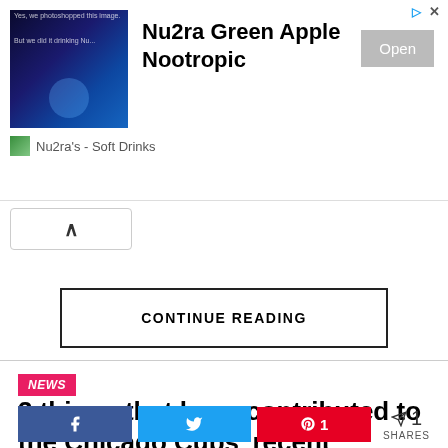[Figure (screenshot): Advertisement banner for Nu2ra Green Apple Nootropic soft drink with dark blue gaming-themed image, Open button, and Nu2ra's - Soft Drinks brand label]
CONTINUE READING
NEWS
3 things that have contributed to the Chicago Cubs' recent success, including Ian Happ's notable switch-
< 1 SHARES